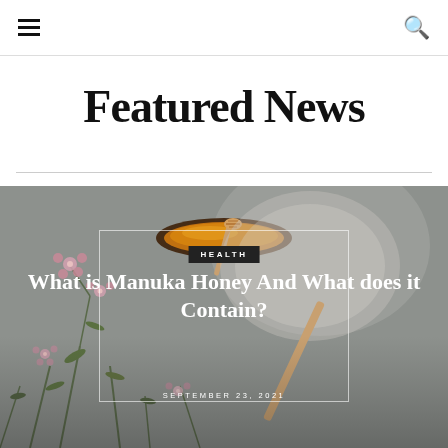☰  🔍
Featured News
[Figure (photo): Bowl of manuka honey with honey dipper, flanked by manuka flowers on a grey background. Overlaid with a thin white border box, a black HEALTH badge, a white article title, and a date.]
HEALTH
What is Manuka Honey And What does it Contain?
SEPTEMBER 23, 2021